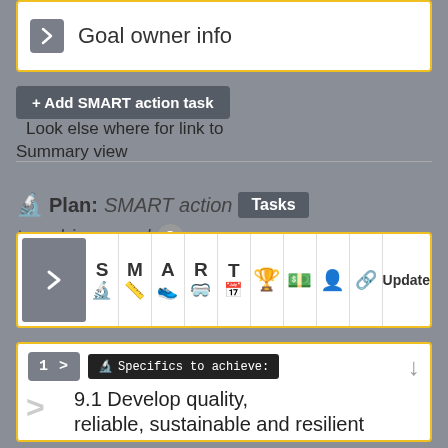[Figure (screenshot): Goal owner info UI panel with chevron button and yellow border]
+ Add SMART action task   Look else where for link to Summary view
[Figure (screenshot): Plan: SMART action Tasks to achieve goal row with help icon]
[Figure (screenshot): SMART grid toolbar with letters S M A R T and icons for goal, money, person, link, and Update button in yellow-bordered box]
[Figure (screenshot): Specifics to achieve panel showing item 1 with text: 9.1 Develop quality, reliable, sustainable and resilient infrastructure, including regional]